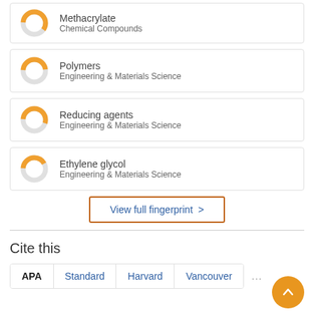Methacrylate — Chemical Compounds
Polymers — Engineering & Materials Science
Reducing agents — Engineering & Materials Science
Ethylene glycol — Engineering & Materials Science
View full fingerprint >
Cite this
APA | Standard | Harvard | Vancouver | ...